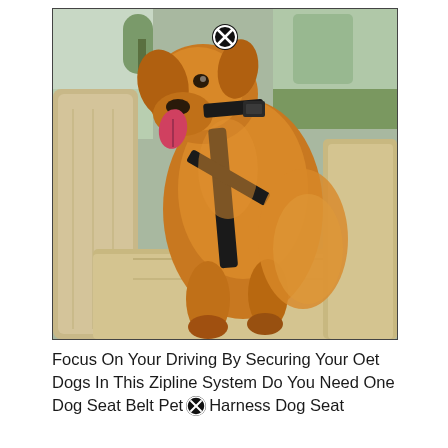[Figure (photo): A golden retriever dog sitting in the back seat of a car, wearing a black harness/seatbelt restraint system. The dog has its tongue out and appears happy. The car interior has beige leather seats. A close button (X circle) is visible in the upper center of the image.]
Focus On Your Driving By Securing Your Oet Dogs In This Zipline System Do You Need One Dog Seat Belt Pet Harness Dog Seat